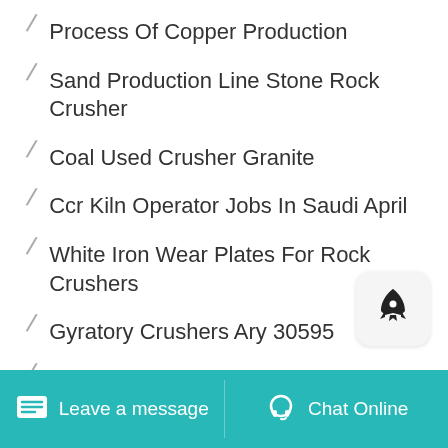Process Of Copper Production
Sand Production Line Stone Rock Crusher
Coal Used Crusher Granite
Ccr Kiln Operator Jobs In Saudi April
White Iron Wear Plates For Rock Crushers
Gyratory Crushers Ary 30595
Movil Planta De Produccion De Mineral De Cobre
Flute Stone Portable Machine
Plant Cost Of Calcium Carbonate
Leave a message  Chat Online